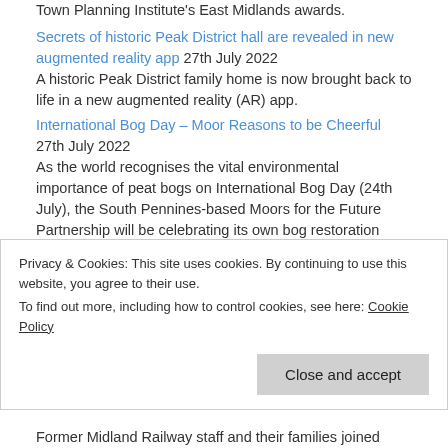Town Planning Institute's East Midlands awards.
Secrets of historic Peak District hall are revealed in new augmented reality app 27th July 2022
A historic Peak District family home is now brought back to life in a new augmented reality (AR) app.
International Bog Day – Moor Reasons to be Cheerful 27th July 2022
As the world recognises the vital environmental importance of peat bogs on International Bog Day (24th July), the South Pennines-based Moors for the Future Partnership will be celebrating its own bog restoration success story as its flagship project MoorLIFE 2020 comes to an end this year.
Planting wildflowers is helping nature and boosting well-being in Hartington 27th July 2022
Privacy & Cookies: This site uses cookies. By continuing to use this website, you agree to their use.
To find out more, including how to control cookies, see here: Cookie Policy
Former Midland Railway staff and their families joined